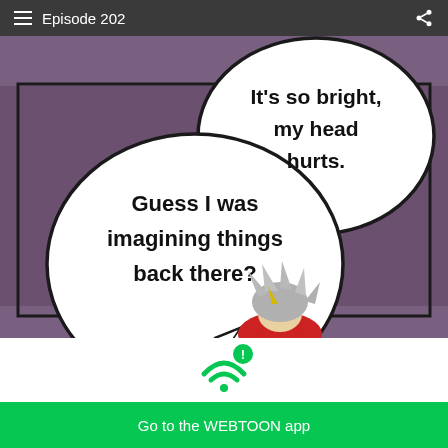Episode 202
[Figure (illustration): Webtoon comic panel with purple/mauve background. Two speech bubbles: left bubble says 'Guess I was imagining things back there?' and right bubble says 'It’s so bright, my head hurts.' A cartoon character with spiky gray hair is visible at the bottom center.]
[Figure (infographic): WiFi signal icon with a green exclamation mark badge]
Having trouble with slow networks?
Download stories on your phone and read offline!
Go to the WEBTOON app